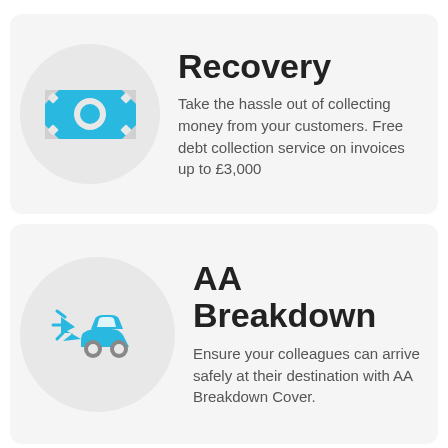[Figure (illustration): Light blue banknote/money icon on a grey circle background]
Recovery
Take the hassle out of collecting money from your customers. Free debt collection service on invoices up to £3,000
[Figure (illustration): Light blue car breakdown/collision icon on a grey circle background]
AA Breakdown
Ensure your colleagues can arrive safely at their destination with AA Breakdown Cover.